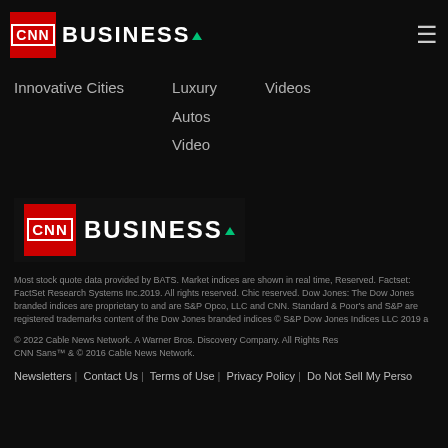[Figure (logo): CNN Business logo in header with red CNN box and white BUSINESS text]
Innovative Cities
Luxury
Videos
Autos
Video
[Figure (logo): CNN Business footer logo with red CNN box and white BUSINESS text with green triangle]
Most stock quote data provided by BATS. Market indices are shown in real time, Reserved. Factset: FactSet Research Systems Inc.2019. All rights reserved. Chic reserved. Dow Jones: The Dow Jones branded indices are proprietary to and are S&P Opco, LLC and CNN. Standard & Poor's and S&P are registered trademarks content of the Dow Jones branded indices © S&P Dow Jones Indices LLC 2019 a
© 2022 Cable News Network. A Warner Bros. Discovery Company. All Rights Res CNN Sans™ & © 2016 Cable News Network.
Newsletters | Contact Us | Terms of Use | Privacy Policy | Do Not Sell My Perso